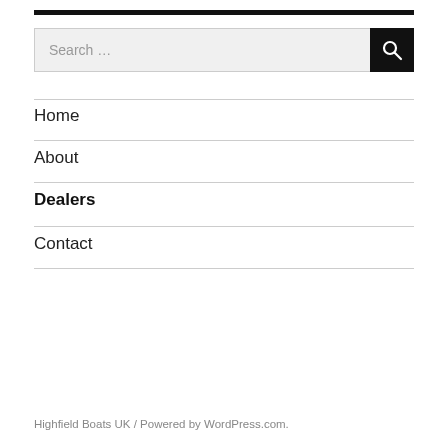Home
About
Dealers
Contact
Highfield Boats UK / Powered by WordPress.com.